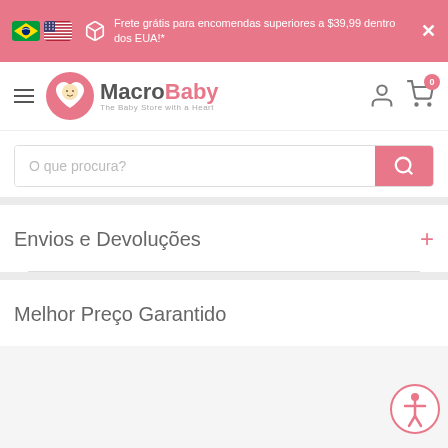Frete grátis para encomendas superiores a $39,99 dentro dos EUA!*
[Figure (logo): MacroBaby - The Baby Store with a Heart logo with pink heart and baby face icon]
O que procura?
Envios e Devoluções
Melhor Preço Garantido